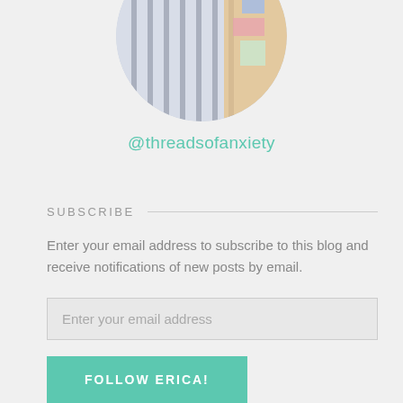[Figure (photo): Circular cropped profile photo showing a person in a blue and white striped shirt with colorful fabric/quilts visible in background]
@threadsofanxiety
SUBSCRIBE
Enter your email address to subscribe to this blog and receive notifications of new posts by email.
Enter your email address
FOLLOW ERICA!
Join 259 other followers